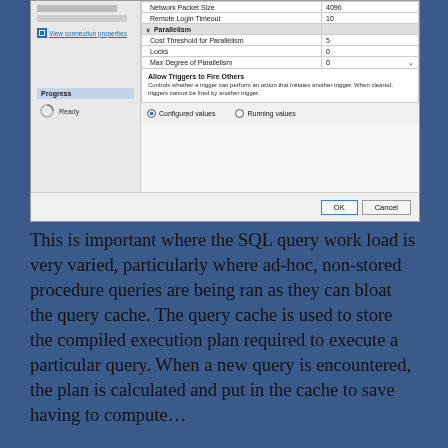[Figure (screenshot): SQL Server properties dialog screenshot showing server configuration table with Network Packet Size (4096), Remote Login Timeout (10), Parallelism section with Cost Threshold for Parallelism (5), Locks (0), Max Degree of Parallelism (0). Left panel shows Progress section with Ready state. Bottom shows Allow Triggers to Fire Others description, radio buttons for Configured values and Running values, and OK/Cancel buttons.]
This is important where the SQL query work load is very varied, particularly where ad-hoc, non-stored procedure queries are being ran as they can bloat the query cache. The query cache is used to store the compiled execution plan required to execute a particular query. When a new query is encountered, the plan is calculated and put in the cache to save having to compute...